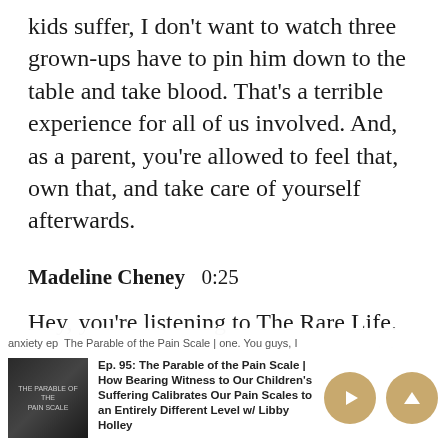kids suffer, I don't want to watch three grown-ups have to pin him down to the table and take blood. That's a terrible experience for all of us involved. And, as a parent, you're allowed to feel that, own that, and take care of yourself afterwards.
Madeline Cheney  0:25
Hey, you're listening to The Rare Life. I'm your host, Madeline Cheney, and I am beyond excited to give you episode 81 with licensed therapist and rare mama, Amanda Griffith-Atkins. It is all about health anxiety and...
Ep. 95: The Parable of the Pain Scale | How Bearing Witness to Our Children's Suffering Calibrates Our Pain Scales to an Entirely Different Level w/ Libby Holley